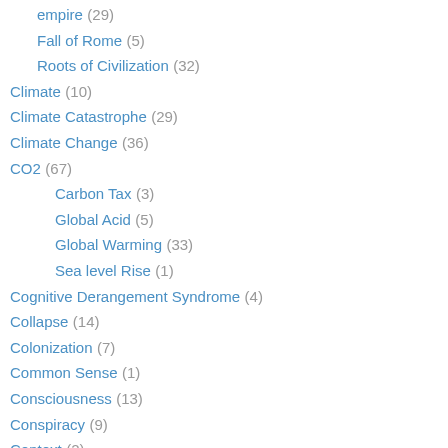empire (29)
Fall of Rome (5)
Roots of Civilization (32)
Climate (10)
Climate Catastrophe (29)
Climate Change (36)
CO2 (67)
Carbon Tax (3)
Global Acid (5)
Global Warming (33)
Sea level Rise (1)
Cognitive Derangement Syndrome (4)
Collapse (14)
Colonization (7)
Common Sense (1)
Consciousness (13)
Conspiracy (9)
Context (2)
Coronavirus (4)
Corruption (23)